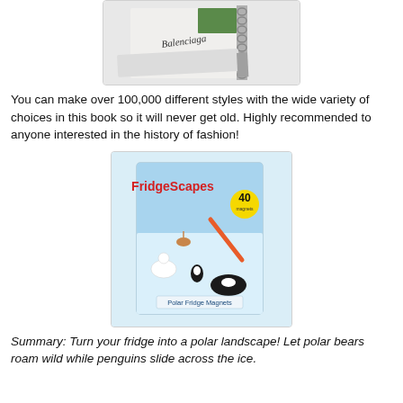[Figure (photo): Photo of an open spiral-bound book with fashion designer names including 'Balenciaga' and 'Kenzo' visible on the pages]
You can make over 100,000 different styles with the wide variety of choices in this book so it will never get old. Highly recommended to anyone interested in the history of fashion!
[Figure (photo): Product image of FridgeScapes Polar Fridge Magnets box with '40' badge, showing polar animals and arctic scene. Titled 'Polar Fridge Magnets'.]
Summary: Turn your fridge into a polar landscape! Let polar bears roam wild while penguins slide across the ice.